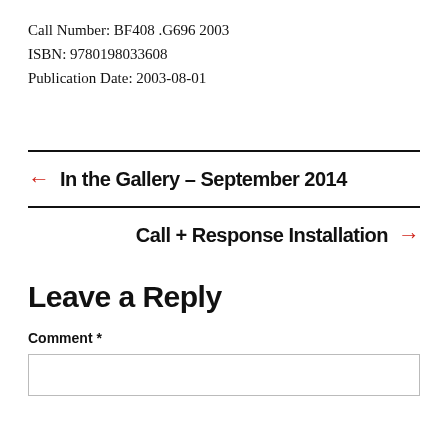Call Number: BF408 .G696 2003
ISBN: 9780198033608
Publication Date: 2003-08-01
← In the Gallery – September 2014
Call + Response Installation →
Leave a Reply
Comment *